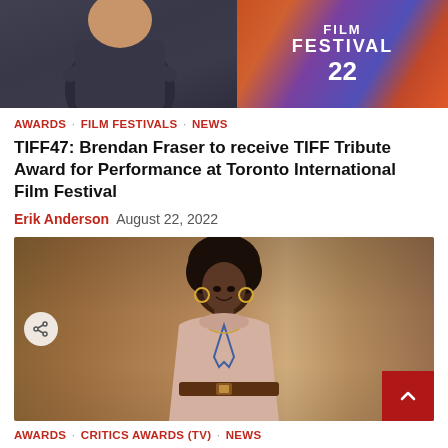[Figure (photo): Top portion of a person in a dark shirt with arms crossed, beside a purple/orange Toronto International Film Festival 22 banner]
AWARDS · FILM FESTIVALS · NEWS
TIFF47: Brendan Fraser to receive TIFF Tribute Award for Performance at Toronto International Film Festival
Erik Anderson  August 22, 2022
[Figure (photo): A smiling woman with curly hair wearing a light pink turtleneck and brown belt, standing in a school hallway with a lanyard]
AWARDS · CRITICS AWARDS (TV) · NEWS
Quinta Brunson, Robin Thede, 'Bel-Air' and more